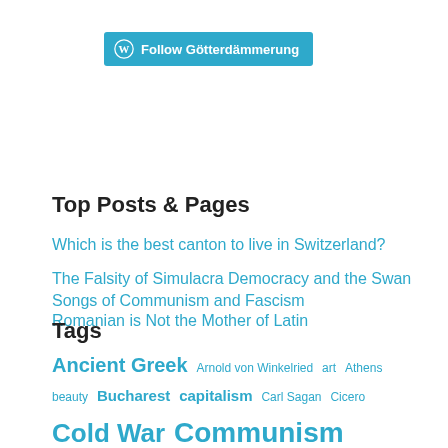[Figure (logo): WordPress Follow button with W logo and text 'Follow Götterdämmerung' on a teal/blue background]
Top Posts & Pages
Which is the best canton to live in Switzerland?
The Falsity of Simulacra Democracy and the Swan Songs of Communism and Fascism
Romanian is Not the Mother of Latin
Tags
Ancient Greek  Arnold von Winkelried  art  Athens  beauty  Bucharest  capitalism  Carl Sagan  Cicero  Cold War  Communism  Coronavirus  Covid-19  crime  Deep Time  Democracy  direct democracy  Ebola  education  family  Federal Charter of 1291  fighting for freedom  firearms